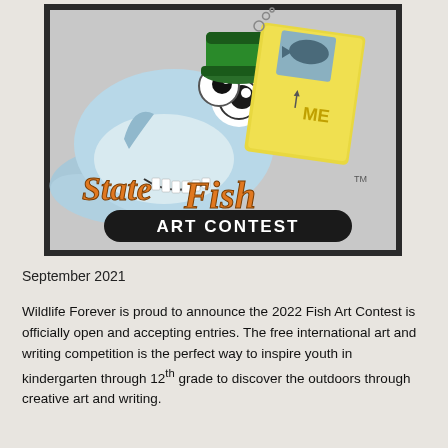[Figure (logo): State Fish Art Contest logo featuring a cartoon fish character wearing a green hat, holding a yellow fishing license card labeled 'ME', with orange script text reading 'State Fish' and a black banner reading 'ART CONTEST' in white bold text.]
September 2021
Wildlife Forever is proud to announce the 2022 Fish Art Contest is officially open and accepting entries. The free international art and writing competition is the perfect way to inspire youth in kindergarten through 12th grade to discover the outdoors through creative art and writing.